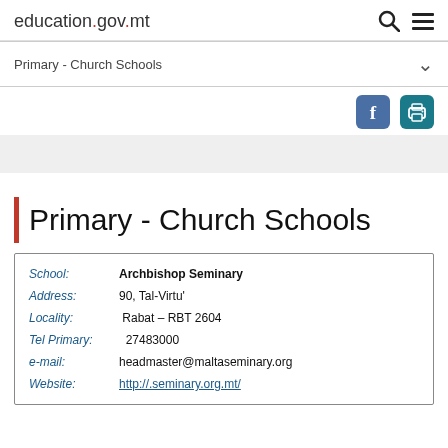education.gov.mt
Primary - Church Schools
Primary - Church Schools
| Field | Value |
| --- | --- |
| School: | Archbishop Seminary |
| Address: | 90, Tal-Virtu' |
| Locality: | Rabat – RBT 2604 |
| Tel Primary: | 27483000 |
| e-mail: | headmaster@maltaseminary.org |
| Website: | http://.seminary.org.mt/ |